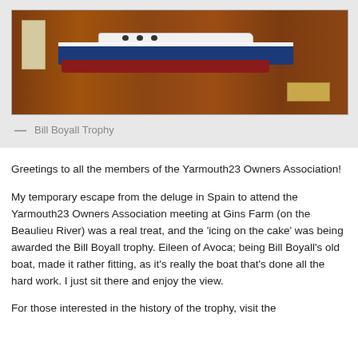[Figure (photo): A half-hull boat model mounted on a wooden plaque, showing a blue and white yacht with a dark red keel section. A small brass plaque is visible on the lower right of the mounting board.]
— Bill Boyall Trophy
Greetings to all the members of the Yarmouth23 Owners Association!
My temporary escape from the deluge in Spain to attend the Yarmouth23 Owners Association meeting at Gins Farm (on the Beaulieu River) was a real treat, and the 'icing on the cake' was being awarded the Bill Boyall trophy. Eileen of Avoca; being Bill Boyall's old boat, made it rather fitting, as it's really the boat that's done all the hard work. I just sit there and enjoy the view.
For those interested in the history of the trophy, visit the